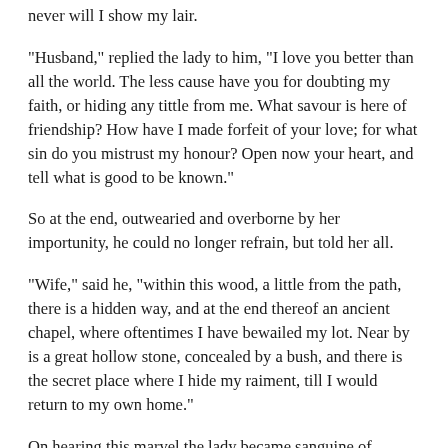never will I show my lair.
“Husband,” replied the lady to him, “I love you better than all the world. The less cause have you for doubting my faith, or hiding any tittle from me. What savour is here of friendship? How have I made forfeit of your love; for what sin do you mistrust my honour? Open now your heart, and tell what is good to be known.”
So at the end, outwearied and overborne by her importunity, he could no longer refrain, but told her all.
“Wife,” said he, “within this wood, a little from the path, there is a hidden way, and at the end thereof an ancient chapel, where oftentimes I have bewailed my lot. Near by is a great hollow stone, concealed by a bush, and there is the secret place where I hide my raiment, till I would return to my own home.”
On hearing this marvel the lady became sanguine of visage,